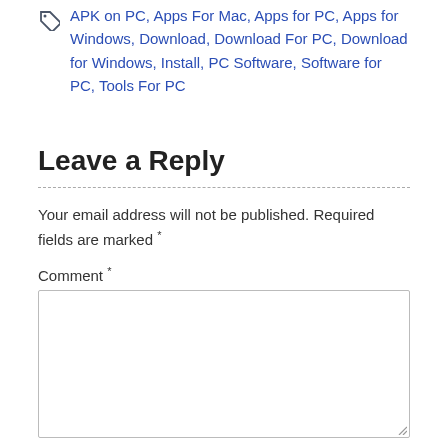APK on PC, Apps For Mac, Apps for PC, Apps for Windows, Download, Download For PC, Download for Windows, Install, PC Software, Software for PC, Tools For PC
Leave a Reply
Your email address will not be published. Required fields are marked *
Comment *